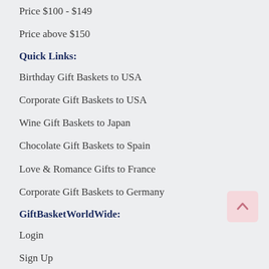Price $100 - $149
Price above $150
Quick Links:
Birthday Gift Baskets to USA
Corporate Gift Baskets to USA
Wine Gift Baskets to Japan
Chocolate Gift Baskets to Spain
Love & Romance Gifts to France
Corporate Gift Baskets to Germany
GiftBasketWorldWide:
Login
Sign Up
About Us
Contact Us
Terms & Conditions
Privacy Policy
FAQs